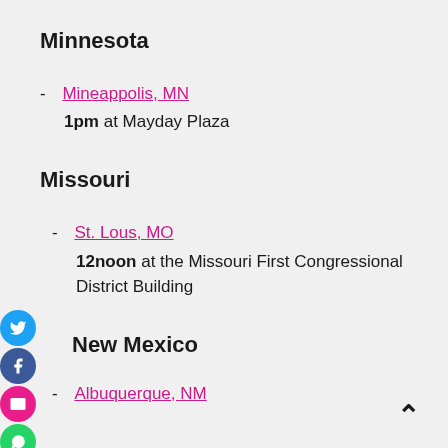Minnesota
- Mineappolis, MN
1pm at Mayday Plaza
Missouri
- St. Lous, MO
12noon at the Missouri First Congressional District Building
New Mexico
- Albuquerque, NM